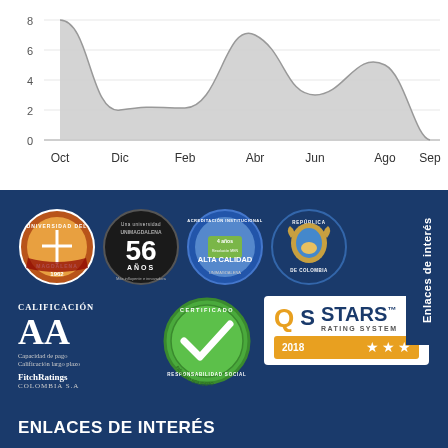[Figure (area-chart): ]
Enlaces de interés
[Figure (logo): Universidad del Magdalena circular logo badge]
[Figure (logo): UNIMAGDALENA 56 años badge - Más influyente e innovadora]
[Figure (logo): Acreditación Institucional Alta Calidad 4 años - UNIMAGDALENA]
[Figure (logo): República de Colombia coat of arms circular badge]
[Figure (logo): Certificado Responsabilidad Social green circular badge]
[Figure (logo): QS Stars Rating System 2018 - 3 stars]
CALIFICACIÓN
AA
Capacidad de pago
Calificación largo plazo
FitchRatings
COLOMBIA S.A
ENLACES DE INTERÉS